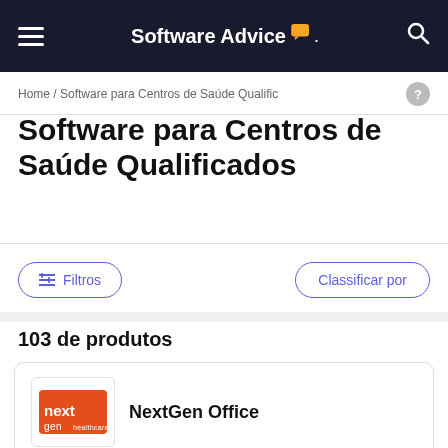Software Advice
Home / Software para Centros de Saúde Qualific
Software para Centros de Saúde Qualificados
Filtros
Classificar por
103 de produtos
NextGen Office
NextGen Healthcare offers NextGen Office—a cloud-based EHR, specifically designed for private…